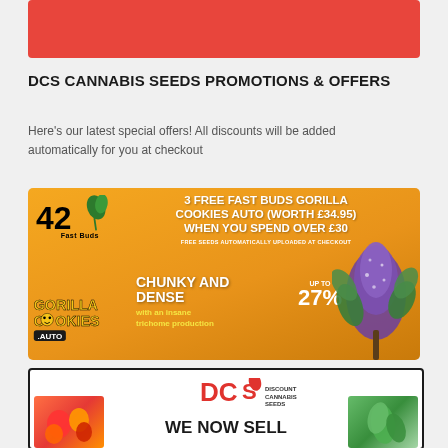[Figure (illustration): Red banner/header image at the top of the page]
DCS CANNABIS SEEDS PROMOTIONS & OFFERS
Here's our latest special offers! All discounts will be added automatically for you at checkout
[Figure (infographic): Orange promotional banner for 42 Fast Buds: 3 FREE FAST BUDS GORILLA COOKIES AUTO (WORTH £34.95) WHEN YOU SPEND OVER £30. FREE SEEDS AUTOMATICALLY UPLOADED AT CHECKOUT. GORILLA COOKIES AUTO. CHUNKY AND DENSE with an insane trichrome production. UP TO 27%]
[Figure (infographic): White promotional banner with DCS (Discount Cannabis Seeds) logo and WE NOW SELL text with product images on the sides]